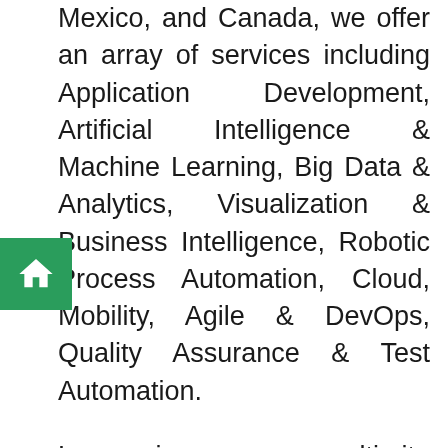Mexico, and Canada, we offer an array of services including Application Development, Artificial Intelligence & Machine Learning, Big Data & Analytics, Visualization & Business Intelligence, Robotic Process Automation, Cloud, Mobility, Agile & DevOps, Quality Assurance & Test Automation.
Leveraging our multi-site operations in the USA and India and the availability of world-class infrastructure, we offer a combination of on-site, off-site, and offshore service models. Our technical competencies, proactive management approach, proven methodologies, committed support and the ability to quickly react to urgent needs make us a valued partner for any kind of Digital